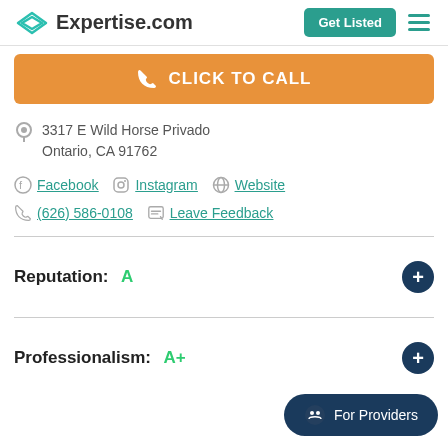Expertise.com
CLICK TO CALL
3317 E Wild Horse Privado
Ontario, CA 91762
Facebook   Instagram   Website
(626) 586-0108   Leave Feedback
Reputation: A
Professionalism: A+
For Providers